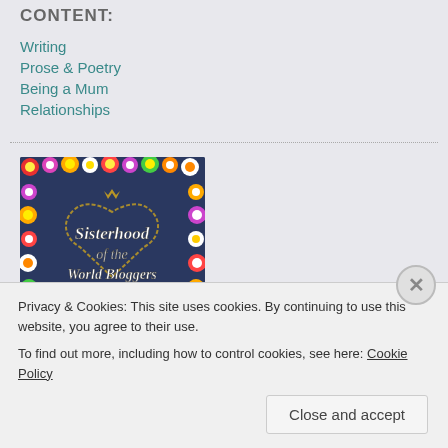CONTENT:
Writing
Prose & Poetry
Being a Mum
Relationships
[Figure (illustration): Sisterhood of the World Bloggers Award badge — denim pocket background surrounded by colorful flowers with white text reading 'Sisterhood of the World Bloggers Award!']
Privacy & Cookies: This site uses cookies. By continuing to use this website, you agree to their use.
To find out more, including how to control cookies, see here: Cookie Policy
Close and accept